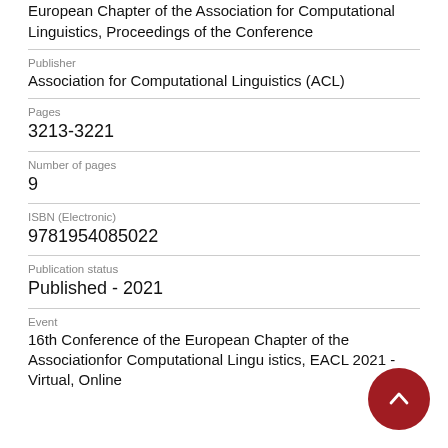European Chapter of the Association for Computational Linguistics, Proceedings of the Conference
Publisher
Association for Computational Linguistics (ACL)
Pages
3213-3221
Number of pages
9
ISBN (Electronic)
9781954085022
Publication status
Published - 2021
Event
16th Conference of the European Chapter of the Associationfor Computational Linguistics, EACL 2021 - Virtual, Online